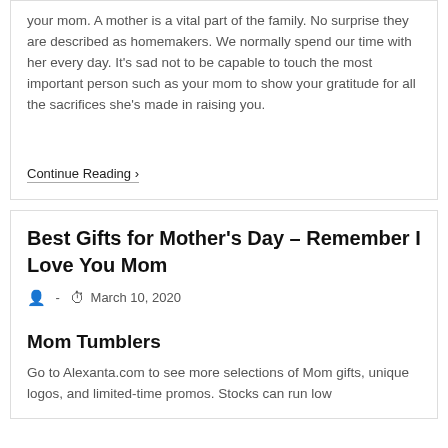your mom. A mother is a vital part of the family. No surprise they are described as homemakers. We normally spend our time with her every day. It's sad not to be capable to touch the most important person such as your mom to show your gratitude for all the sacrifices she's made in raising you.
Continue Reading ›
Best Gifts for Mother's Day – Remember I Love You Mom
- March 10, 2020
Mom Tumblers
Go to Alexanta.com to see more selections of Mom gifts, unique logos, and limited-time promos. Stocks can run low